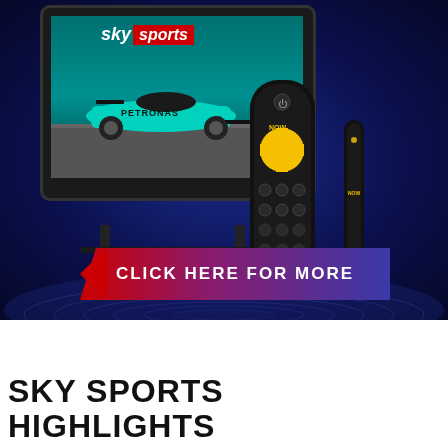[Figure (photo): Sky Sports NOW TV streaming device advertisement with F1 car on TV screen, NOW TV remote control and stick, on a dark blue background with a red-to-purple gradient 'CLICK HERE FOR MORE' button]
SKY SPORTS HIGHLIGHTS